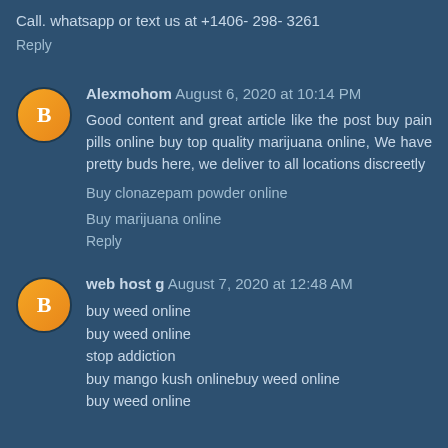Call. whatsapp or text us at +1406- 298- 3261
Reply
Alexmohom  August 6, 2020 at 10:14 PM
Good content and great article like the post buy pain pills online buy top quality marijuana online, We have pretty buds here, we deliver to all locations discreetly
Buy clonazepam powder online
Buy marijuana online
Reply
web host g  August 7, 2020 at 12:48 AM
buy weed online
buy weed online
stop addiction
buy mango kush onlinebuy weed online
buy weed online